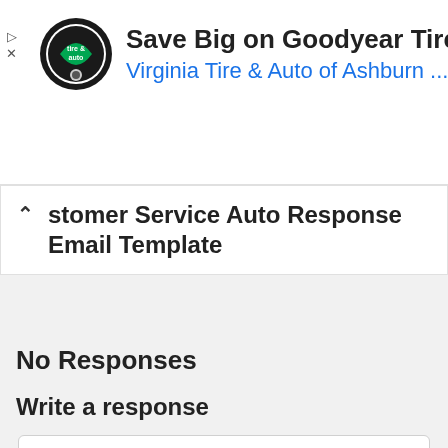[Figure (infographic): Advertisement banner for Virginia Tire & Auto of Ashburn with logo, text 'Save Big on Goodyear Tires', subtitle 'Virginia Tire & Auto of Ashburn ...', and a blue navigation icon on the right.]
Customer Service Auto Response Email Template
No Responses
Write a response
Name
Email
Website